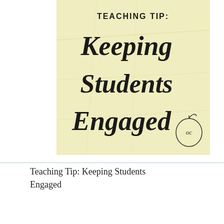[Figure (illustration): Yellow-beige crinkled paper background with handwritten-style text reading 'TEACHING TIP: Keeping Students Engaged' and a hand-drawn apple outline with 'oc' initials in the lower right corner.]
Teaching Tip: Keeping Students Engaged